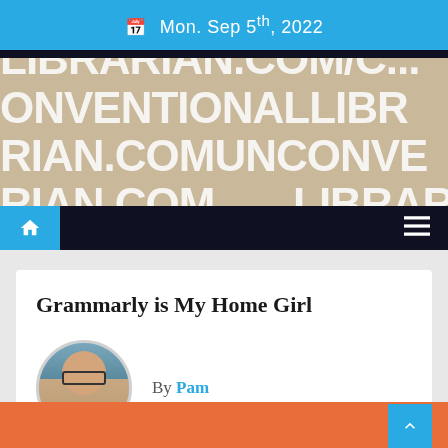Mon. Sep 5th, 2022
[Figure (illustration): Hero banner with repeating text pattern: UNCONVENTIONALLIBR... ARIAN.COM displayed in large bold white/cream letters on a tan/beige background]
Grammarly is My Home Girl
By Pam